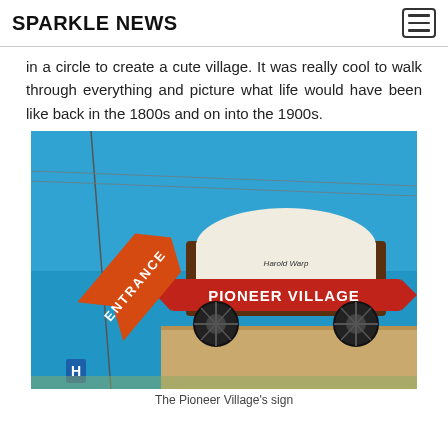SPARKLE NEWS
in a circle to create a cute village. It was really cool to walk through everything and picture what life would have been like back in the 1800s and on into the 1900s.
[Figure (photo): Photo of Harold Warp Pioneer Village entrance sign — a covered wagon atop a building with a red banner reading 'PIONEER VILLAGE', and an orange arrow-shaped 'ENTRANCE' sign on the left, against a blue sky.]
The Pioneer Village's sign